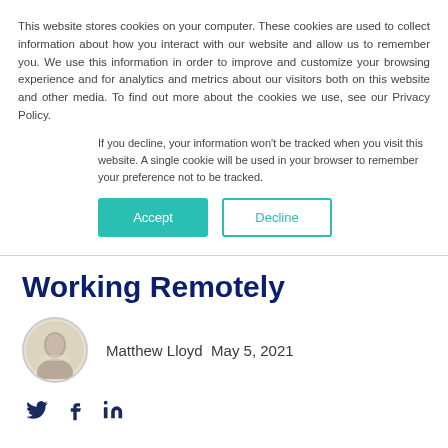This website stores cookies on your computer. These cookies are used to collect information about how you interact with our website and allow us to remember you. We use this information in order to improve and customize your browsing experience and for analytics and metrics about our visitors both on this website and other media. To find out more about the cookies we use, see our Privacy Policy.
If you decline, your information won't be tracked when you visit this website. A single cookie will be used in your browser to remember your preference not to be tracked.
Accept   Decline
Working Remotely
Matthew Lloyd May 5, 2021